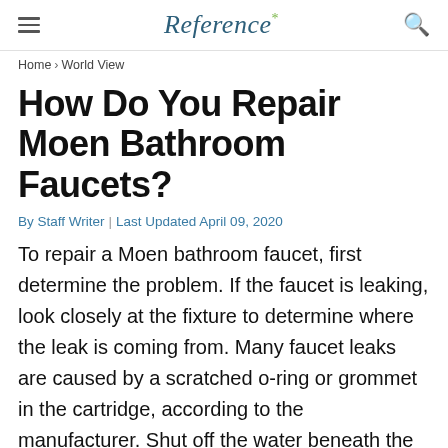Reference*
Home › World View
How Do You Repair Moen Bathroom Faucets?
By Staff Writer | Last Updated April 09, 2020
To repair a Moen bathroom faucet, first determine the problem. If the faucet is leaking, look closely at the fixture to determine where the leak is coming from. Many faucet leaks are caused by a scratched o-ring or grommet in the cartridge, according to the manufacturer. Shut off the water beneath the sink and turn on the taps to flush out any remaining water before replacing the components.